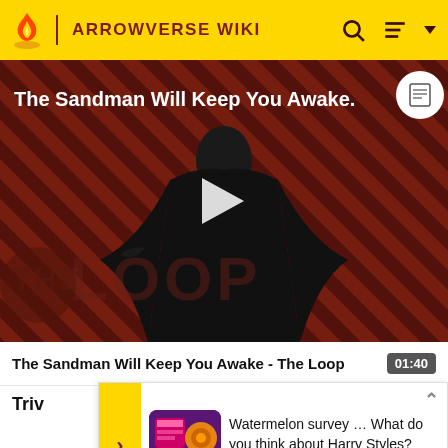ARROWVERSE WIKI
[Figure (screenshot): Video thumbnail for 'The Sandman Will Keep You Awake - The Loop' showing a gothic figure in black on a diagonal stripe background with a play button overlay and 'THE LOOP' watermark]
The Sandman Will Keep You Awake - The Loop 01:40
Trivia
Watermelon survey … What do you think about Harry Styles?
TAKE THE SURVEY HERE
T ... is